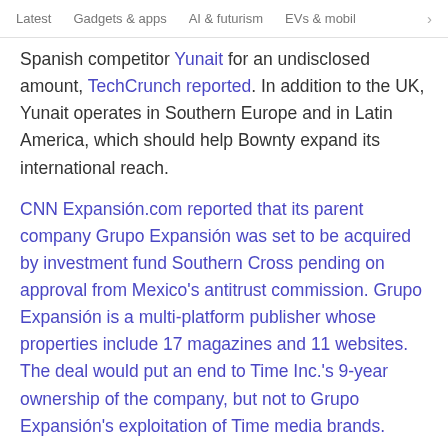Latest   Gadgets & apps   AI & futurism   EVs & mobil  >
Spanish competitor Yunait for an undisclosed amount, TechCrunch reported. In addition to the UK, Yunait operates in Southern Europe and in Latin America, which should help Bownty expand its international reach.
CNN Expansión.com reported that its parent company Grupo Expansión was set to be acquired by investment fund Southern Cross pending on approval from Mexico's antitrust commission. Grupo Expansión is a multi-platform publisher whose properties include 17 magazines and 11 websites. The deal would put an end to Time Inc.'s 9-year ownership of the company, but not to Grupo Expansión's exploitation of Time media brands.